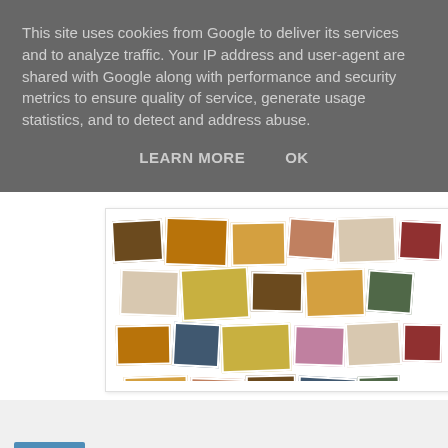This site uses cookies from Google to deliver its services and to analyze traffic. Your IP address and user-agent are shared with Google along with performance and security metrics to ensure quality of service, generate usage statistics, and to detect and address abuse.
LEARN MORE   OK
[Figure (photo): A collage of food photos arranged together showing various dishes and people]
Share
9 comments:
Nick @ Looking to Cook  Thu Apr 19, 09:27:00 am